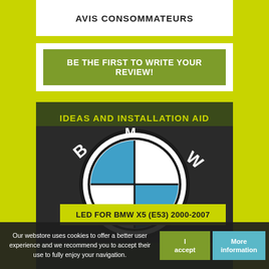AVIS CONSOMMATEURS
BE THE FIRST TO WRITE YOUR REVIEW!
IDEAS AND INSTALLATION AID
[Figure (logo): BMW logo - circular badge with black outer ring and blue/white quadrant design, letters B-M-W around the top]
LED FOR BMW X5 (E53) 2000-2007
Our webstore uses cookies to offer a better user experience and we recommend you to accept their use to fully enjoy your navigation.
I accept
More information